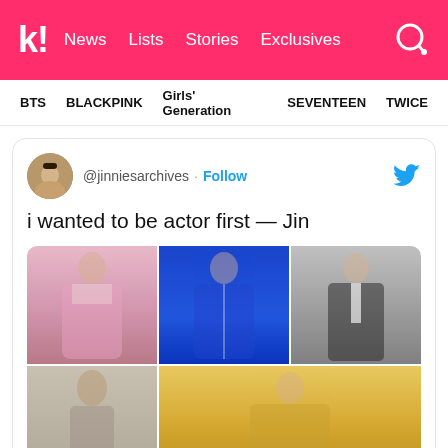k! News Lists Stories Exclusives
BTS BLACKPINK Girls' Generation SEVENTEEN TWICE
[Figure (screenshot): Tweet from @jinniesarchives with Follow button and Twitter bird icon. Tweet text: i wanted to be actor first — Jin. Below is a photo grid of 5 images showing Jin (BTS member) in various outfits: pink hanbok, blue embroidered jacket, black tuxedo, casual outfit, and formal/event look.]